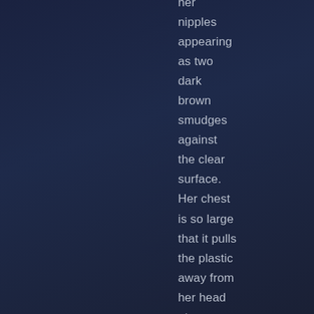her nipples appearing as two dark brown smudges against the clear surface. Her chest is so large that it pulls the plastic away from her head at an angle, to the point where her identity